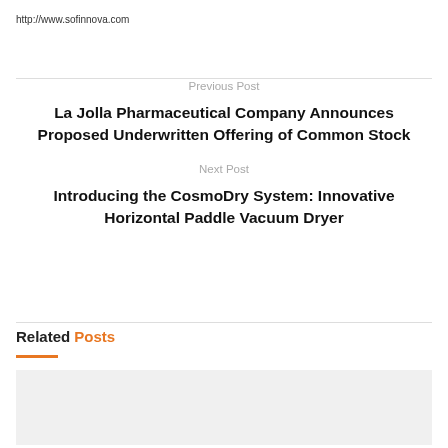http://www.sofinnova.com
Previous Post
La Jolla Pharmaceutical Company Announces Proposed Underwritten Offering of Common Stock
Next Post
Introducing the CosmoDry System: Innovative Horizontal Paddle Vacuum Dryer
Related Posts
[Figure (other): Related post image placeholder (light grey box)]